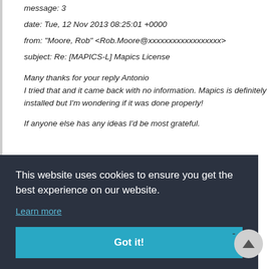message: 3
date: Tue, 12 Nov 2013 08:25:01 +0000
from: "Moore, Rob" <Rob.Moore@xxxxxxxxxxxxxxxxxx>
subject: Re: [MAPICS-L] Mapics License
Many thanks for your reply Antonio
I tried that and it came back with no information. Mapics is definitely installed but I'm wondering if it was done properly!
If anyone else has any ideas I'd be most grateful.
This website uses cookies to ensure you get the best experience on our website.
Learn more
Got it!